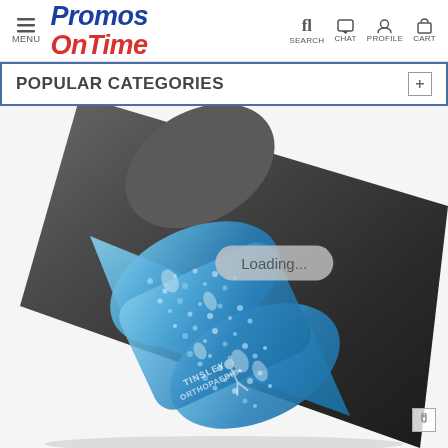MENU | Promos OnTime | SEARCH CHAT PROFILE CART
POPULAR CATEGORIES
[Figure (photo): Close-up photo of a promotional ice/hot pack product with blue gel beads and white printed design labeled 'TINSLEY ORTHOPAEDIC', attached to a dark gray handle or device. A 'Loading...' overlay pill is visible over the image.]